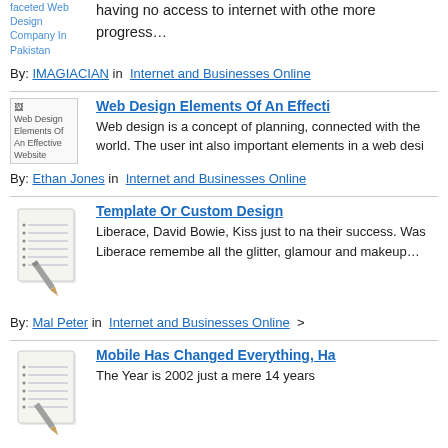faceted Web Design Company In Pakistan
having no access to internet with other more progress…
By: IMAGIACIAN in  Internet and Businesses Online
Web Design Elements Of An Effecti…
Web design is a concept of planning, connected with the world. The user int also important elements in a web desi…
By: Ethan Jones in  Internet and Businesses Online
Template Or Custom Design
Liberace, David Bowie, Kiss just to na their success. Was Liberace remembe all the glitter, glamour and makeup…
By: Mal Peter  in  Internet and Businesses Online >
Mobile Has Changed Everything, Ha…
The Year is 2002 just a mere 14 years…